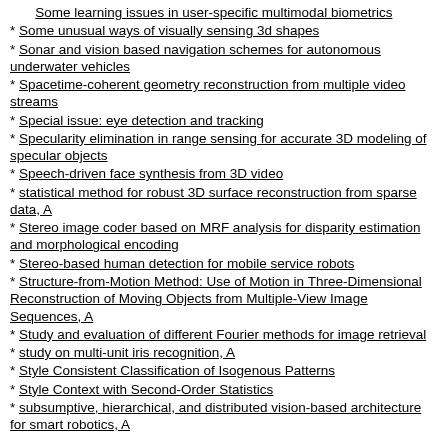Some learning issues in user-specific multimodal biometrics
* Some unusual ways of visually sensing 3d shapes
* Sonar and vision based navigation schemes for autonomous underwater vehicles
* Spacetime-coherent geometry reconstruction from multiple video streams
* Special issue: eye detection and tracking
* Specularity elimination in range sensing for accurate 3D modeling of specular objects
* Speech-driven face synthesis from 3D video
* statistical method for robust 3D surface reconstruction from sparse data, A
* Stereo image coder based on MRF analysis for disparity estimation and morphological encoding
* Stereo-based human detection for mobile service robots
* Structure-from-Motion Method: Use of Motion in Three-Dimensional Reconstruction of Moving Objects from Multiple-View Image Sequences, A
* Study and evaluation of different Fourier methods for image retrieval
* study on multi-unit iris recognition, A
* Style Consistent Classification of Isogenous Patterns
* Style Context with Second-Order Statistics
* subsumptive, hierarchical, and distributed vision-based architecture for smart robotics, A